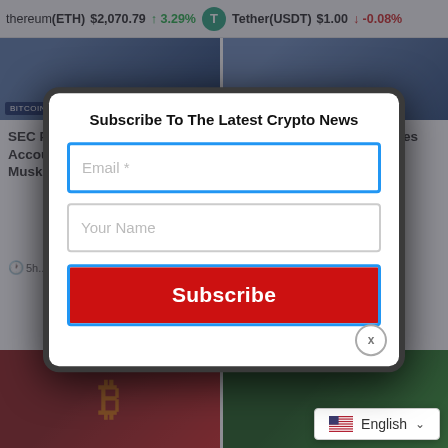thereum(ETH) $2,070.79 ↑ 3.29%   Tether(USDT) $1.00 ↓ -0.08%
SEC Probes Twitter Over Spam Accounts — Could Add to Musk's...
Applied Blockchain Changes Name, Enters ... for ...
[Figure (screenshot): Subscribe To The Latest Crypto News modal popup with email and name input fields and a red Subscribe button]
English